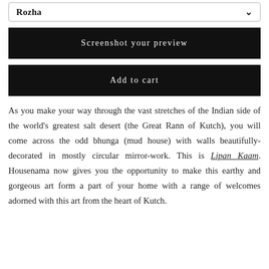Rozha
Screenshot your preview
Add to cart
As you make your way through the vast stretches of the Indian side of the world's greatest salt desert (the Great Rann of Kutch), you will come across the odd bhunga (mud house) with walls beautifully-decorated in mostly circular mirror-work. This is Lipan Kaam. Housenama now gives you the opportunity to make this earthy and gorgeous art form a part of your home with a range of welcomes adorned with this art from the heart of Kutch.